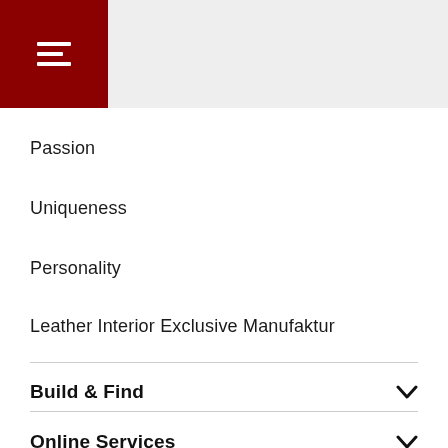Navigation menu header with hamburger icon
Passion
Uniqueness
Personality
Leather Interior Exclusive Manufaktur
Build & Find
Online Services
Behind the Scenes